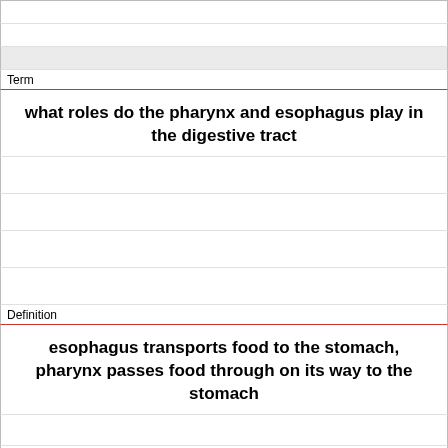Term
what roles do the pharynx and esophagus play in the digestive tract
Definition
esophagus transports food to the stomach, pharynx passes food through on its way to the stomach